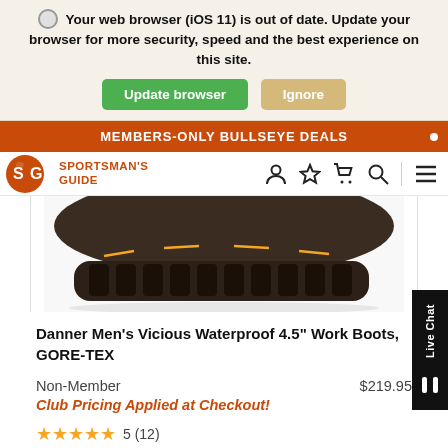Your web browser (iOS 11) is out of date. Update your browser for more security, speed and the best experience on this site.
Update browser   Ignore
MEMBERS-ONLY BULLSEYE DEALS
[Figure (logo): Sportsman's Guide logo with SG letters in orange circle and text 'SPORTSMAN'S GUIDE']
[Figure (photo): Close-up photo of brown leather work boot sole/toe area with orange stitching detail, Danner Vicious boot]
Danner Men's Vicious Waterproof 4.5" Work Boots, GORE-TEX
Non-Member   $219.95
Club Pricing Applied at Checkout!
★★★★★ 5 (12)